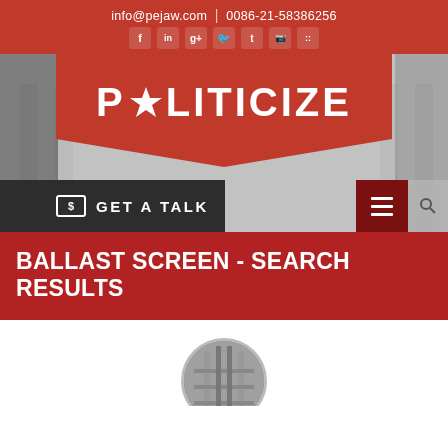info@pejaw.com  |  0086-21-58386256
[Figure (logo): Social media icons: Facebook, LinkedIn, Google+, Twitter, Tumblr, Instagram, Flickr]
[Figure (logo): POLITICIZE logo with red star replacing letter O, on red banner background with grey architectural building image behind]
GET A TALK
BALLAST SCREEN - SEARCH RESULTS
[Figure (photo): Circular cropped photo showing industrial machinery or structure]